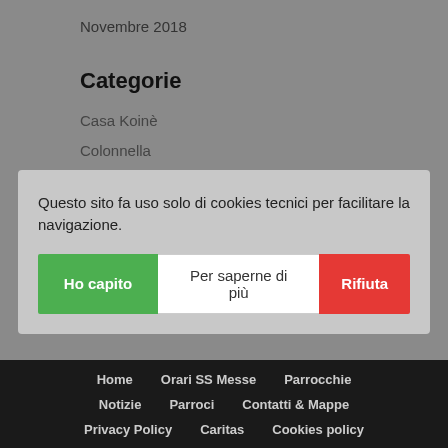Novembre 2018
Categorie
Casa Koinè
Colonnella
Questo sito fa uso solo di cookies tecnici per facilitare la navigazione.
Ho capito | Per saperne di più | Rifiuta
Scuola
Home   Orari SS Messe   Parrocchie   Notizie   Parroci   Contatti & Mappe   Privacy Policy   Caritas   Cookies policy